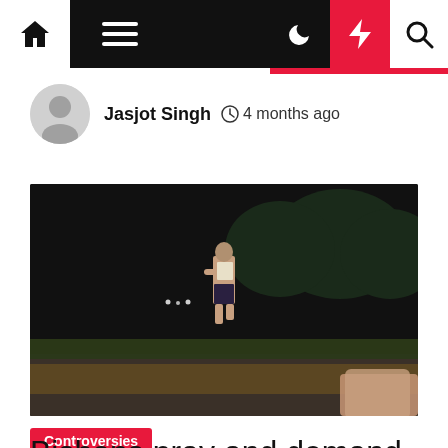Navigation bar with home, menu, dark mode, lightning, and search icons
Jasjot Singh  4 months ago
[Figure (photo): A person walking at night along a road or path, dark background with distant lights]
Controversies
Bishops pray and demand